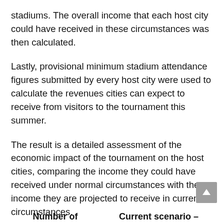stadiums. The overall income that each host city could have received in these circumstances was then calculated.
Lastly, provisional minimum stadium attendance figures submitted by every host city were used to calculate the revenues cities can expect to receive from visitors to the tournament this summer.
The result is a detailed assessment of the economic impact of the tournament on the host cities, comparing the income they could have received under normal circumstances with the income they are projected to receive in current circumstances.
| Number of | Current scenario – |
| --- | --- |